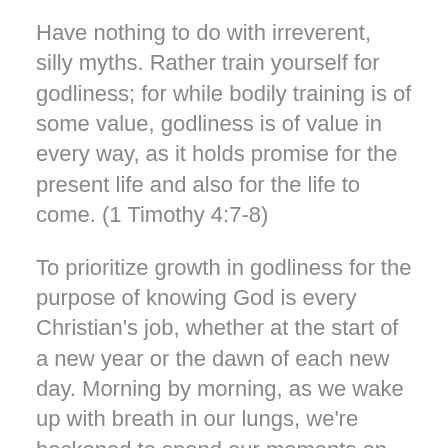Have nothing to do with irreverent, silly myths. Rather train yourself for godliness; for while bodily training is of some value, godliness is of value in every way, as it holds promise for the present life and also for the life to come. (1 Timothy 4:7-8)
To prioritize growth in godliness for the purpose of knowing God is every Christian's job, whether at the start of a new year or the dawn of each new day. Morning by morning, as we wake up with breath in our lungs, we're beckoned to spend our moments on the greatest pursuit in existence: to know Jesus more intimately and to become like him.
One way to move toward this goal? Read great books. Not just any Christian books—great books. Books bursting with true, theological riches. Pages